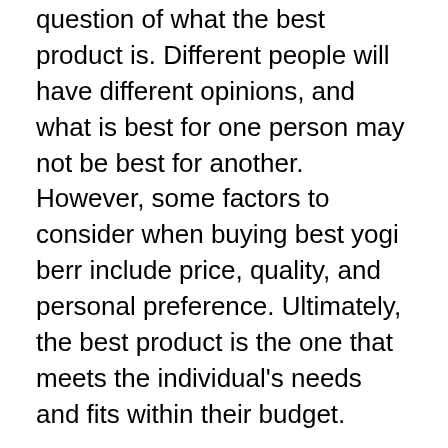question of what the best product is. Different people will have different opinions, and what is best for one person may not be best for another. However, some factors to consider when buying best yogi berr include price, quality, and personal preference. Ultimately, the best product is the one that meets the individual's needs and fits within their budget.
When considering quality, it is important to look at the reviews of the product. If the reviews are good, then the product is likely to be of good quality. If the reviews are bad, then the product is likely to be of poor quality. The price of the product is also important. It is important to find a product that is affordable, without sacrificing quality. Finally, the most common use of the...